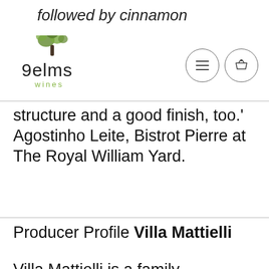followed by cinnamon
[Figure (logo): 9elms wines logo with tree illustration]
structure and a good finish, too.' Agostinho Leite, Bistrot Pierre at The Royal William Yard.
Producer Profile Villa Mattielli
Villa Mattielli is a family-